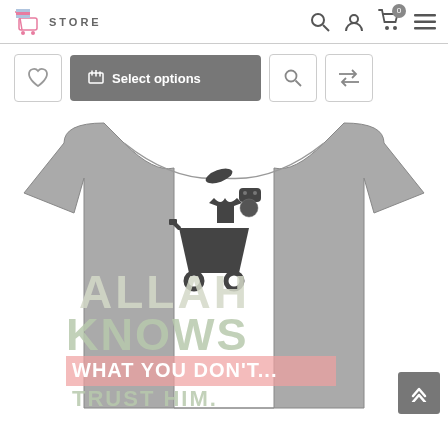STORE
[Figure (screenshot): E-commerce store header with logo (shopping cart icon + STORE text), search icon, user icon, cart icon with badge 0, and hamburger menu]
[Figure (other): Toolbar with wishlist heart button, Select options button (dark gray), search button, and compare button]
[Figure (photo): Gray t-shirt with shopping cart graphic and text reading ALLAH KNOWS WHAT YOU DON'T... TRUST HIM. in bold retro style. A back-to-top arrow button appears in the bottom right corner.]